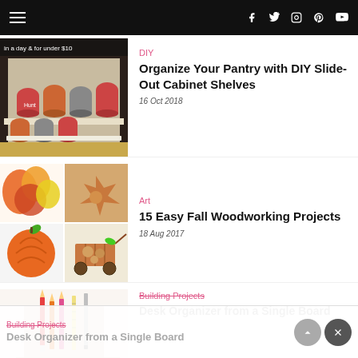Navigation bar with hamburger menu and social icons (Facebook, Twitter, Instagram, Pinterest, YouTube)
[Figure (photo): Photo of pantry with slide-out cabinet shelves holding canned goods, with overlay text 'In a day & for under $10']
DIY
Organize Your Pantry with DIY Slide-Out Cabinet Shelves
16 Oct 2018
[Figure (photo): Collage of fall woodworking crafts: autumn leaves arrangement, cardboard fall decorations, wooden wagon, orange pumpkin cutout]
Art
15 Easy Fall Woodworking Projects
18 Aug 2017
[Figure (photo): Partial photo of desk organizer made from a single board, showing pencils and supplies]
Building Projects
Desk Organizer from a Single Board